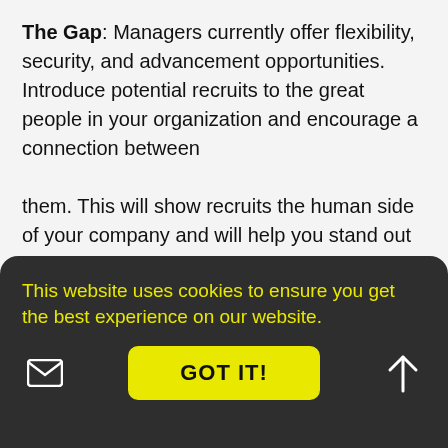The Gap: Managers currently offer flexibility, security, and advancement opportunities. Introduce potential recruits to the great people in your organization and encourage a connection between them. This will show recruits the human side of your company and will help you stand out from other job offers.
This website uses cookies to ensure you get the best experience on our website.
GOT IT!